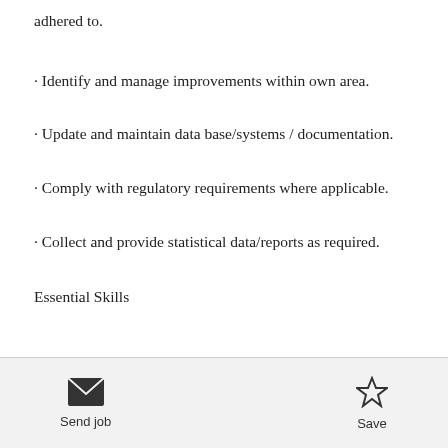adhered to.
· Identify and manage improvements within own area.
· Update and maintain data base/systems / documentation.
· Comply with regulatory requirements where applicable.
· Collect and provide statistical data/reports as required.
Essential Skills
Send job  Save